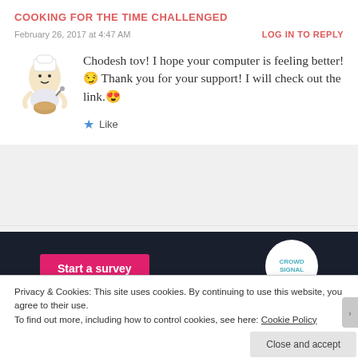COOKING FOR THE TIME CHALLENGED
February 26, 2017 at 4:47 AM
LOG IN TO REPLY
Chodesh tov! I hope your computer is feeling better!😏 Thank you for your support! I will check out the link.😍
★ Like
[Figure (other): Start a survey button with CrowdSignal logo on dark navy background]
Privacy & Cookies: This site uses cookies. By continuing to use this website, you agree to their use.
To find out more, including how to control cookies, see here: Cookie Policy
Close and accept